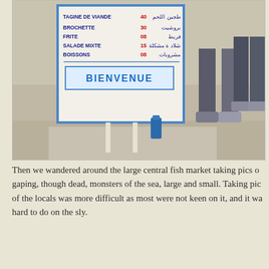[Figure (photo): Photo of a restaurant menu sign reading BIENVENUE with French and Arabic text listing Tagine de Viande 40, Brochette 30, Frite 08, Salade Mixte 15, Boissons 08. Two people's legs visible behind the sign.]
Then we wandered around the large central fish market taking pics of gaping, though dead, monsters of the sea, large and small. Taking pics of the locals was more difficult as most were not keen on it, and it was hard to do on the sly.
[Figure (photo): Street market scene with a man in a white coat bending over a stall, another person in a Germany t-shirt, blue shutters in background, market awning visible.]